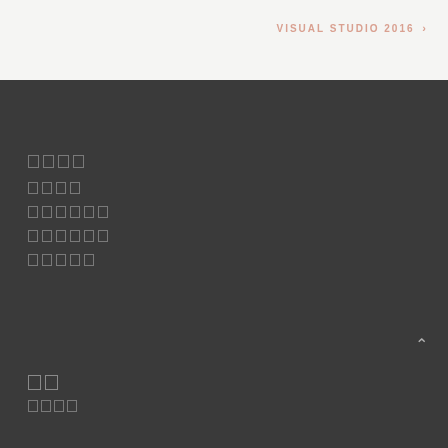VISUAL STUDIO 2016 >
□□□□
□□□□
□□□□□□
□□□□□□
□□□□□
□□
□□□□